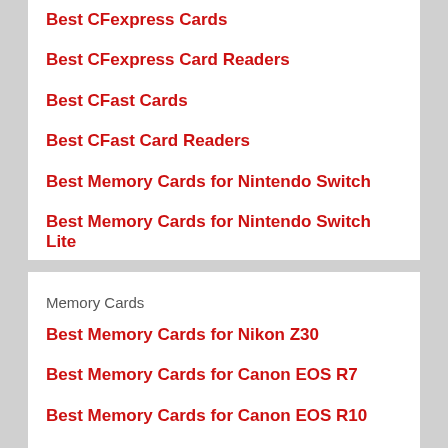Best CFexpress Cards
Best CFexpress Card Readers
Best CFast Cards
Best CFast Card Readers
Best Memory Cards for Nintendo Switch
Best Memory Cards for Nintendo Switch Lite
Memory Cards
Best Memory Cards for Nikon Z30
Best Memory Cards for Canon EOS R7
Best Memory Cards for Canon EOS R10
Best Memory Cards for Fujifilm X-H2S
Best Memory Cards for Ricoh WG-80